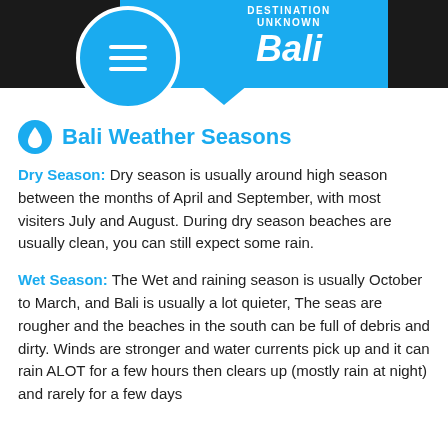DESTINATION UNKNOWN Bali
Bali Weather Seasons
Dry Season: Dry season is usually around high season between the months of April and September, with most visiters July and August. During dry season beaches are usually clean, you can still expect some rain.
Wet Season: The Wet and raining season is usually October to March, and Bali is usually a lot quieter, The seas are rougher and the beaches in the south can be full of debris and dirty. Winds are stronger and water currents pick up and it can rain ALOT for a few hours then clears up (mostly rain at night) and rarely for a few days